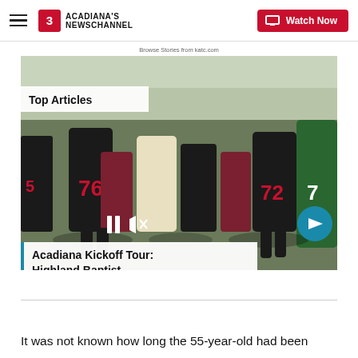Acadiana's Newschannel | Watch Now
Browse Stories from katc.com
[Figure (screenshot): Football game action photo used as video thumbnail showing players in black and white/green uniforms with jersey numbers 76, 72, 7 visible. Overlaid with Top Articles badge, video playback controls (pause, mute), forward arrow button, and article title card at bottom.]
Acadiana Kickoff Tour: Highland Baptist
It was not known how long the 55-year-old had been